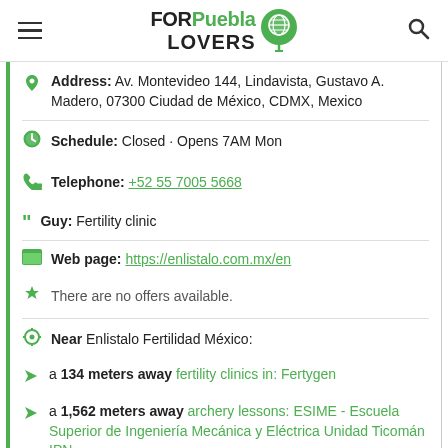FORPuebla LOVERS
Address: Av. Montevideo 144, Lindavista, Gustavo A. Madero, 07300 Ciudad de México, CDMX, Mexico
Schedule: Closed · Opens 7AM Mon
Telephone: +52 55 7005 5668
Guy: Fertility clinic
Web page: https://enlistalo.com.mx/en
There are no offers available.
Near Enlistalo Fertilidad México:
a 134 meters away fertility clinics in: Fertygen
a 1,562 meters away archery lessons: ESIME - Escuela Superior de Ingeniería Mecánica y Eléctrica Unidad Ticomán IPN